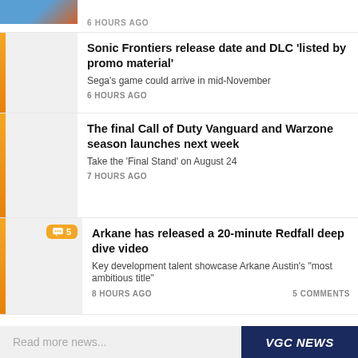6 HOURS AGO
Sonic Frontiers release date and DLC 'listed by promo material'
Sega's game could arrive in mid-November
6 HOURS AGO
The final Call of Duty Vanguard and Warzone season launches next week
Take the 'Final Stand' on August 24
7 HOURS AGO
Arkane has released a 20-minute Redfall deep dive video
Key development talent showcase Arkane Austin's "most ambitious title"
8 HOURS AGO
5 COMMENTS
Read more news...
VGC NEWS